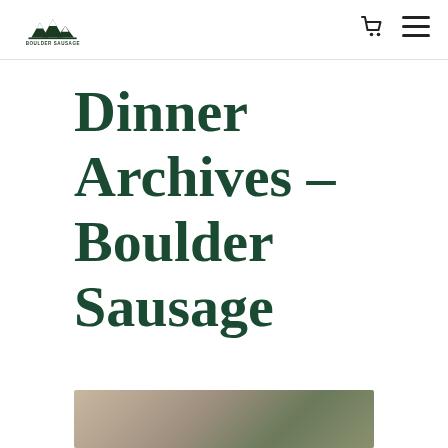Boulder Sausage
Dinner Archives - Boulder Sausage
[Figure (photo): Food photo showing a bowl dish, partially visible at bottom of page]